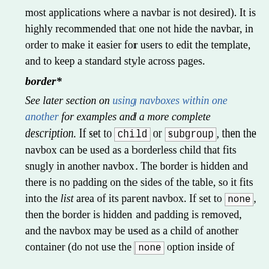most applications where a navbar is not desired). It is highly recommended that one not hide the navbar, in order to make it easier for users to edit the template, and to keep a standard style across pages.
border*
See later section on using navboxes within one another for examples and a more complete description. If set to child or subgroup, then the navbox can be used as a borderless child that fits snugly in another navbox. The border is hidden and there is no padding on the sides of the table, so it fits into the list area of its parent navbox. If set to none, then the border is hidden and padding is removed, and the navbox may be used as a child of another container (do not use the none option inside of